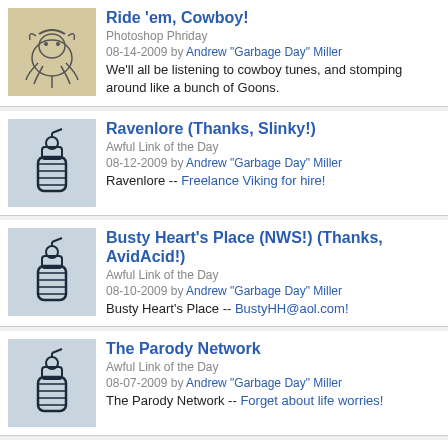Ride 'em, Cowboy! | Photoshop Phriday | 08-14-2009 by Andrew "Garbage Day" Miller | We'll all be listening to cowboy tunes, and stomping around like a bunch of Goons.
Ravenlore (Thanks, Slinky!) | Awful Link of the Day | 08-12-2009 by Andrew "Garbage Day" Miller | Ravenlore -- Freelance Viking for hire!
Busty Heart's Place (NWS!) (Thanks, AvidAcid!) | Awful Link of the Day | 08-10-2009 by Andrew "Garbage Day" Miller | Busty Heart's Place -- BustyHH@aol.com!
The Parody Network | Awful Link of the Day | 08-07-2009 by Andrew "Garbage Day" Miller | The Parody Network -- Forget about life worries!
Warped Tour 2009 | Garbage Day | 08-07-2009 by Andrew "Garbage Day" Miller | After 15 years of listening to great music I did Warped Tour and it...